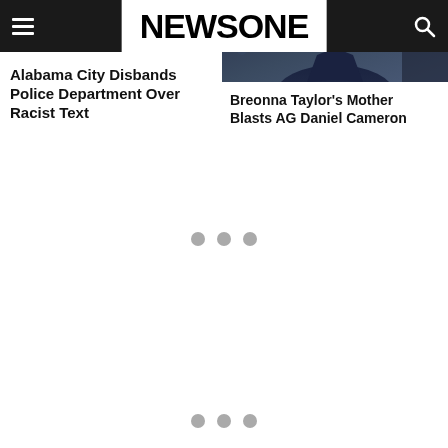NEWSONE
Alabama City Disbands Police Department Over Racist Text
[Figure (photo): Photo of a man in a suit and tie, dark background]
Breonna Taylor’s Mother Blasts AG Daniel Cameron